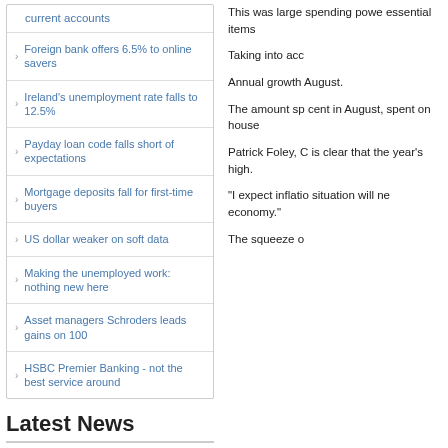current accounts
Foreign bank offers 6.5% to online savers
Ireland's unemployment rate falls to 12.5%
Payday loan code falls short of expectations
Mortgage deposits fall for first-time buyers
US dollar weaker on soft data
Making the unemployed work: nothing new here
Asset managers Schroders leads gains on 100
HSBC Premier Banking - not the best service around
Latest News
Gender directive could slash
This was large spending powe essential items
Taking into acc
Annual growth August.
The amount sp cent in August, spent on house
Patrick Foley, C is clear that the year's high.
"I expect inflatio situation will ne economy."
The squeeze o